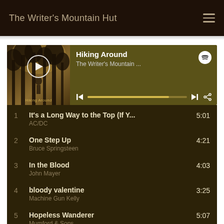The Writer's Mountain Hut
[Figure (screenshot): Spotify embedded music player showing the playlist 'Hiking Around' by The Writer's Mountain Hut, with album art, playback controls, and progress bar.]
1   It's a Long Way to the Top (If Y...   5:01
    AC/DC
2   One Step Up   4:21
    Bruce Springsteen
3   In the Blood   4:03
    John Mayer
4   bloody valentine   3:25
    Machine Gun Kelly
5   Hopeless Wanderer   5:07
    Mumford & Sons
6   She's Like Texas   3:55